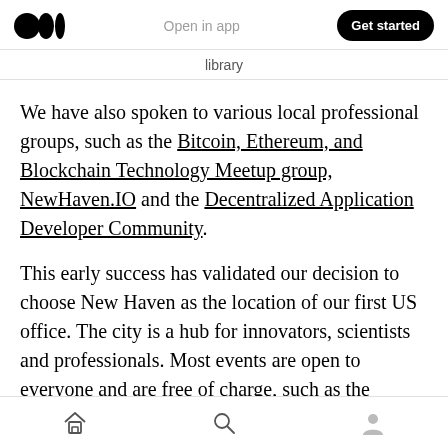Open in app  Get started
library
We have also spoken to various local professional groups, such as the Bitcoin, Ethereum, and Blockchain Technology Meetup group, NewHaven.IO and the Decentralized Application Developer Community.
This early success has validated our decision to choose New Haven as the location of our first US office. The city is a hub for innovators, scientists and professionals. Most events are open to everyone and are free of charge, such as the
Home  Search  Profile